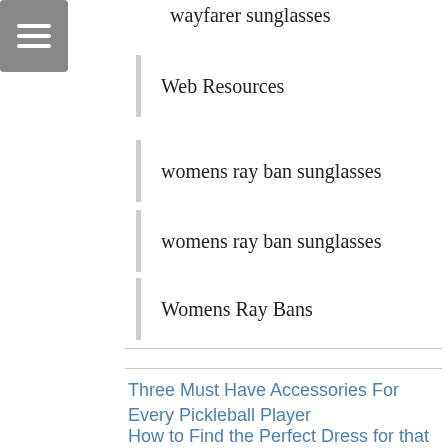wayfarer sunglasses
Web Resources
womens ray ban sunglasses
womens ray ban sunglasses
Womens Ray Bans
Three Must Have Accessories For Every Pickleball Player
How to Find the Perfect Dress for that Special Occassion